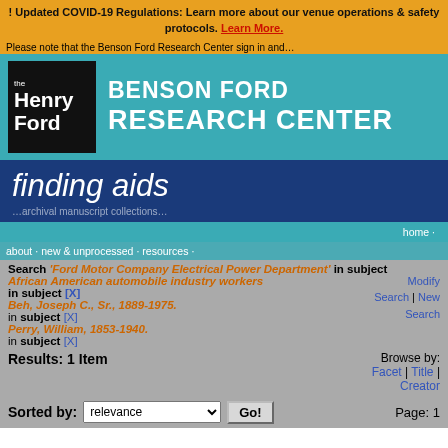! Updated COVID-19 Regulations: Learn more about our venue operations & safety protocols. Learn More.
[Figure (logo): The Henry Ford logo on black background next to 'BENSON FORD RESEARCH CENTER' text on teal background]
finding aids
home · about · new & unprocessed · resources · contact us
Search 'Ford Motor Company Electrical Power Department' in subject  African American automobile industry workers in subject [X]  Beh, Joseph C., Sr., 1889-1975. in subject [X]  Perry, William, 1853-1940. in subject [X]
Modify Search | New Search
Results: 1 Item
Browse by: Facet | Title | Creator
Sorted by: relevance  Go!  Page: 1